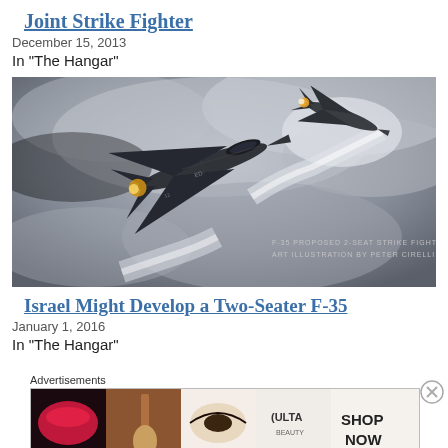Joint Strike Fighter
December 15, 2013
In "The Hangar"
[Figure (photo): Two F-35 stealth fighter jets flying through dramatic cloudy sky. Text overlay reads: F-35 PROPOSED 2-SEAT STRIKE FIGHTER / ART ILLUSTRATION BY PETER CIRELLI]
Israel Might Develop a Two-Seater F-35
January 1, 2016
In "The Hangar"
Advertisements
[Figure (photo): Ulta Beauty advertisement banner showing cosmetic product imagery with text SHOP NOW]